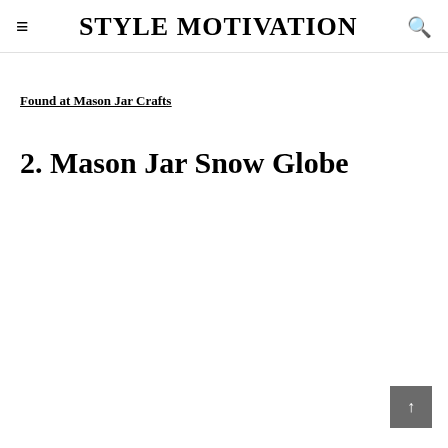STYLE MOTIVATION
Found at Mason Jar Crafts
2. Mason Jar Snow Globe